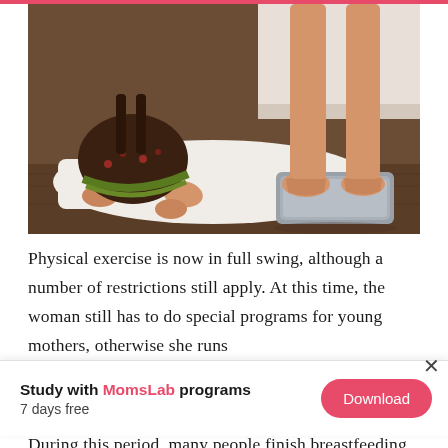[Figure (photo): A baby sitting on a white fluffy bath mat next to an adult standing on a bathroom scale. The baby is wearing a brown and green floral outfit. The adult's bare feet are visible on the scale. The floor is dark hardwood.]
Physical exercise is now in full swing, although a number of restrictions still apply. At this time, the woman still has to do special programs for young mothers, otherwise she runs
Study with MomsLab programs
7 days free
During this period, many people finish breastfeeding. This